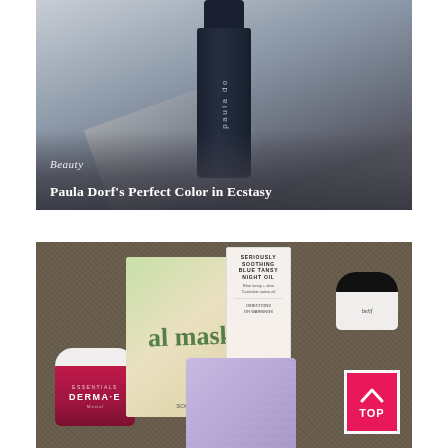[Figure (photo): A dark navy cylindrical Paula Dorf cosmetic product (lipstick or similar) against a light gray/beige background with soft shadows. The product shows 'paula do' text vertically on the side. Overlay text reads 'Beauty' in italic and 'Paula Dorf's Perfect Color in Ecstasy' in bold white.]
Beauty
Paula Dorf's Perfect Color in Ecstasy
[Figure (photo): A flat lay of beauty skincare products on a dark burlap/woven fabric surface. Products include: Derma-E Essentials jar (red/maroon lid), a green 'facial mask' box with blueberry imagery, a 'Seriously Soothing Blue Tansy Night Oil' tall box (0.3 FL OZ / 10ml), and a Belif black-lidded cream jar. A pink/magenta TOP button with upward chevron arrow is overlaid in the bottom right corner.]